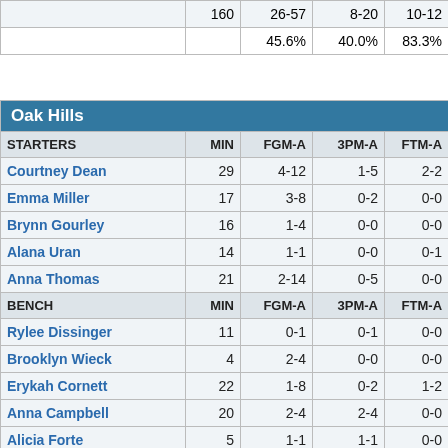|  | MIN | FGM-A | 3PM-A | FTM-A |  |
| --- | --- | --- | --- | --- | --- |
|  | 160 | 26-57 | 8-20 | 10-12 | 15 |
|  |  | 45.6% | 40.0% | 83.3% |  |
| Oak Hills |  |  |  |  |
| --- | --- | --- | --- | --- |
| STARTERS | MIN | FGM-A | 3PM-A | FTM-A |
| Courtney Dean | 29 | 4-12 | 1-5 | 2-2 |
| Emma Miller | 17 | 3-8 | 0-2 | 0-0 |
| Brynn Gourley | 16 | 1-4 | 0-0 | 0-0 |
| Alana Uran | 14 | 1-1 | 0-0 | 0-1 |
| Anna Thomas | 21 | 2-14 | 0-5 | 0-0 |
| BENCH | MIN | FGM-A | 3PM-A | FTM-A |
| Rylee Dissinger | 11 | 0-1 | 0-1 | 0-0 |
| Brooklyn Wieck | 4 | 2-4 | 0-0 | 0-0 |
| Erykah Cornett | 22 | 1-8 | 0-2 | 1-2 |
| Anna Campbell | 20 | 2-4 | 2-4 | 0-0 |
| Alicia Forte | 5 | 1-1 | 1-1 | 0-0 |
| TOTALS | MIN | FGM-A | 3PM-A | FTM-A | OR |
|  | 159 | 17-57 | 4-20 | 3-5 | 9 |